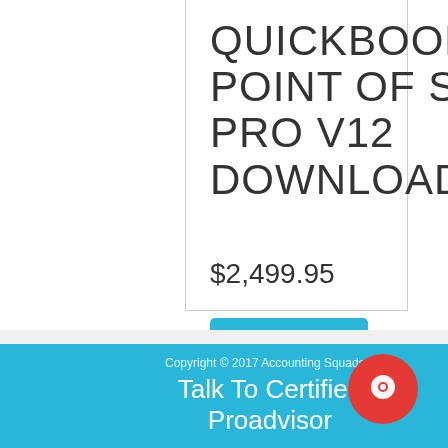QUICKBOOKS POINT OF SALE: PRO V12 DOWNLOAD
$2,499.95
[Figure (screenshot): Add to cart icon button (blue shopping basket in a bordered square)]
[Figure (screenshot): Add to wishlist icon button (blue heart with plus in a bordered square)]
Buy Now
Copyright © 2017 Accounting Squads
Talk To Certified Proadvisor